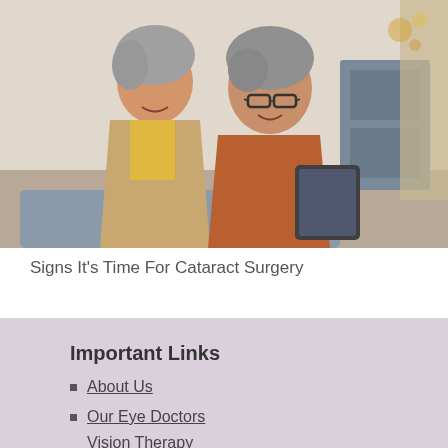[Figure (photo): An elderly couple sitting together, smiling and looking at a tablet device. The woman has short grey hair and wears a beige/tan vest over a yellow shirt. The man has grey hair, wears glasses and an orange/rust-colored zip-up sweater. Background shows a home interior.]
Signs It's Time For Cataract Surgery
Important Links
About Us
Our Eye Doctors
Vision Therapy